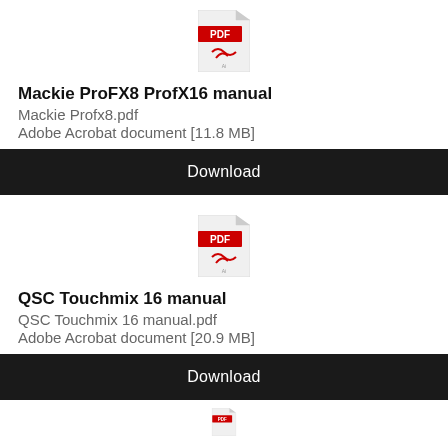[Figure (logo): PDF file icon with red PDF label and Acrobat logo]
Mackie ProFX8 ProfX16 manual
Mackie Profx8.pdf
Adobe Acrobat document [11.8 MB]
Download
[Figure (logo): PDF file icon with red PDF label and Acrobat logo]
QSC Touchmix 16 manual
QSC Touchmix 16 manual.pdf
Adobe Acrobat document [20.9 MB]
Download
[Figure (logo): Partial PDF file icon at bottom of page]